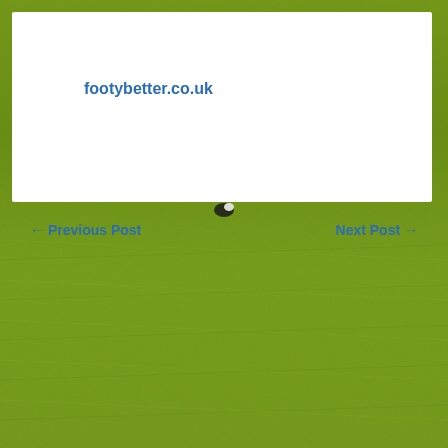[Figure (photo): Football pitch grass background, close-up aerial view of green grass with a small figure/ball visible near the top center]
footybetter.co.uk
← Previous Post    Next Post →